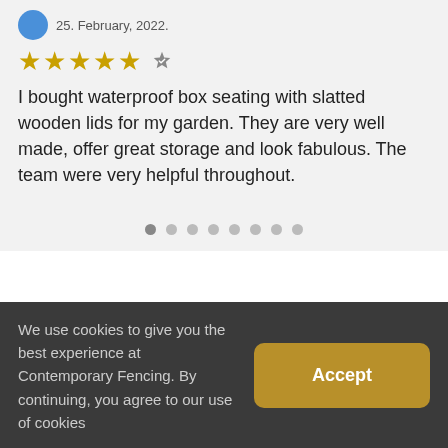25. February, 2022.
★★★★★
I bought waterproof box seating with slatted wooden lids for my garden. They are very well made, offer great storage and look fabulous. The team were very helpful throughout.
[Figure (other): Pagination dots row, 8 dots]
[Figure (logo): Contemporary Fencing logo with EST. 2008 and horizontal bar motif]
CONTEMPORARY
We use cookies to give you the best experience at Contemporary Fencing. By continuing, you agree to our use of cookies